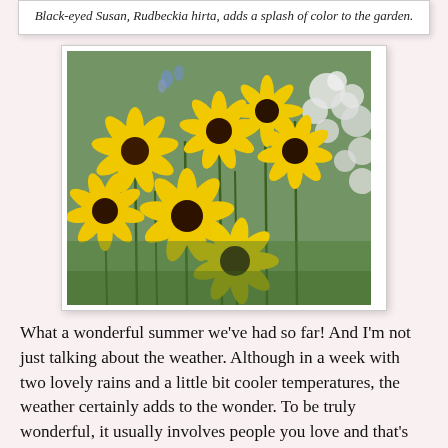Black-eyed Susan, Rudbeckia hirta, adds a splash of color to the garden.
[Figure (photo): A photograph of Black-eyed Susan flowers (Rudbeckia hirta) with bright yellow petals and dark brown centers, surrounded by green foliage and white wildflowers in a garden setting.]
What a wonderful summer we've had so far! And I'm not just talking about the weather. Although in a week with two lovely rains and a little bit cooler temperatures, the weather certainly adds to the wonder. To be truly wonderful, it usually involves people you love and that's what has made my summer so special.
I'm still on a high from our Girls Weekend with my